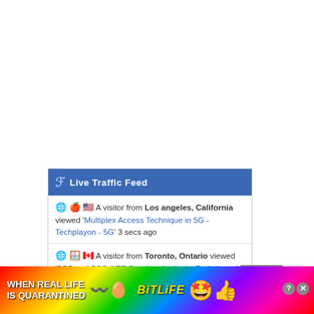[Figure (screenshot): White empty space (webpage background above the widget)]
Live Traffic Feed
🌐 🍎 🇺🇸 A visitor from Los angeles, California viewed 'Multiplex Access Technique in 5G - Techplayon - 5G' 3 secs ago
🌐 🪟 🇨🇦 A visitor from Toronto, Ontario viewed 'PSS and SSS (LTE Synchronization) - Techplayon' 9 secs ago
🦊 🪟 🇺🇸 A visitor from Duncan, South carolina viewed '5G NR Interfaces X2/Xn, S1/NG, F1 and F1 Func...
🌐 🪟 [flag] A visitor from de la...
[Figure (screenshot): Advertisement banner: BitLife game ad with rainbow background, text 'WHEN REAL LIFE IS QUARANTINED' and BitLife logo with emoji]